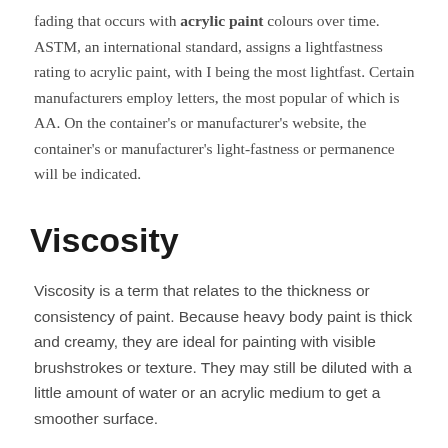fading that occurs with acrylic paint colours over time. ASTM, an international standard, assigns a lightfastness rating to acrylic paint, with I being the most lightfast. Certain manufacturers employ letters, the most popular of which is AA. On the container's or manufacturer's website, the container's or manufacturer's light-fastness or permanence will be indicated.
Viscosity
Viscosity is a term that relates to the thickness or consistency of paint. Because heavy body paint is thick and creamy, they are ideal for painting with visible brushstrokes or texture. They may still be diluted with a little amount of water or an acrylic medium to get a smoother surface.